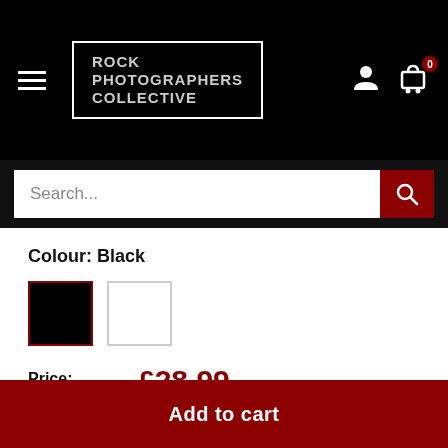Rock Photographers Collective
Search...
Colour: Black
Price: £28.99
Tax included
Quantity: 1
Add to cart